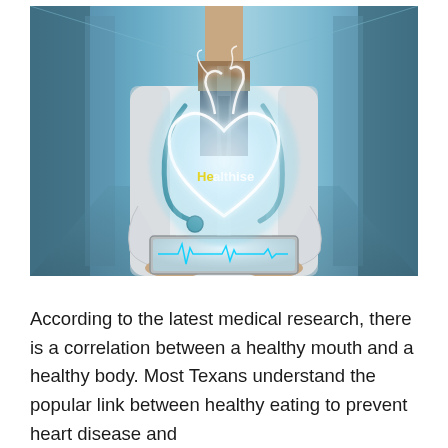[Figure (photo): A doctor in a white lab coat with a stethoscope holds a tablet device from which a glowing holographic anatomical heart with ECG waveform emanates. A watermark reading 'Healthise' appears on the image.]
According to the latest medical research, there is a correlation between a healthy mouth and a healthy body. Most Texans understand the popular link between healthy eating to prevent heart disease and